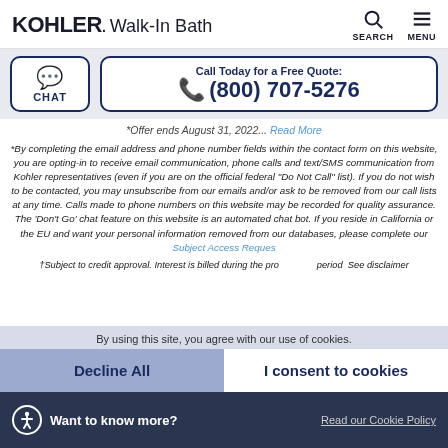KOHLER. Walk-In Bath
CHAT | Call Today for a Free Quote: (800) 707-5276
*Offer ends August 31, 2022... Read More
*By completing the email address and phone number fields within the contact form on this website, you are opting-in to receive email communication, phone calls and text/SMS communication from Kohler representatives (even if you are on the official federal "Do Not Call" list). If you do not wish to be contacted, you may unsubscribe from our emails and/or ask to be removed from our call lists at any time. Calls made to phone numbers on this website may be recorded for quality assurance. The 'Don't Go' chat feature on this website is an automated chat bot. If you reside in California or the EU and want your personal information removed from our databases, please complete our Subject Access Request
†Subject to credit approval. Interest is billed during the promotional period. See disclaimer
By using this site, you agree with our use of cookies.
Decline All
I consent to cookies
Want to know more?
Read our Cookie Policy